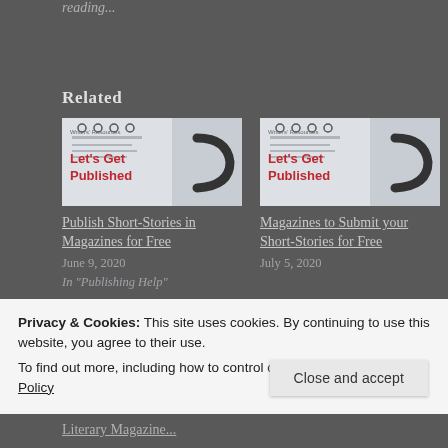reading...
Related
[Figure (illustration): Let's Get Published Writers' Resources thumbnail image with spiral notebook and C hook]
Publish Short-Stories in Magazines for Free
June 9, 2020
In "Publishing Help"
[Figure (illustration): Let's Get Published Writers' Resources thumbnail image with spiral notebook and C hook]
Magazines to Submit your Short-Stories for Free
July 5, 2020
Privacy & Cookies: This site uses cookies. By continuing to use this website, you agree to their use.
To find out more, including how to control cookies, see here: Cookie Policy
Close and accept
Literary Magazine...